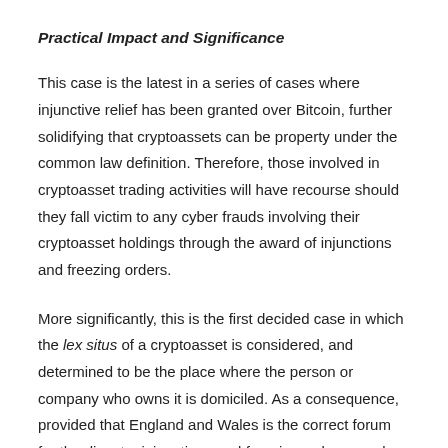Practical Impact and Significance
This case is the latest in a series of cases where injunctive relief has been granted over Bitcoin, further solidifying that cryptoassets can be property under the common law definition. Therefore, those involved in cryptoasset trading activities will have recourse should they fall victim to any cyber frauds involving their cryptoasset holdings through the award of injunctions and freezing orders.
More significantly, this is the first decided case in which the lex situs of a cryptoasset is considered, and determined to be the place where the person or company who owns it is domiciled. As a consequence, provided that England and Wales is the correct forum for the dispute, injunctions and freezing orders may be